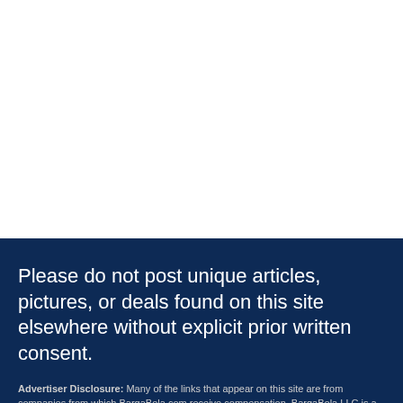Please do not post unique articles, pictures, or deals found on this site elsewhere without explicit prior written consent.
Advertiser Disclosure: Many of the links that appear on this site are from companies from which BargaBola.com receive compensation. BargaBola LLC is a participant in the Amazon Services LLC